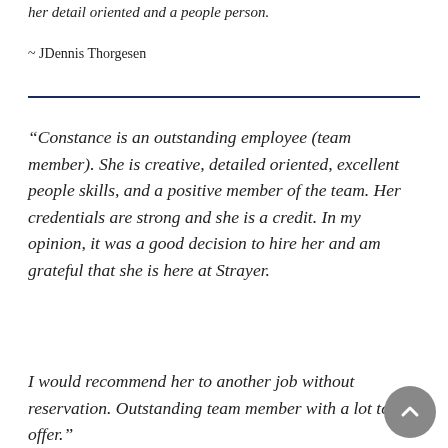her detail oriented and a people person.
~ JDennis Thorgesen
“Constance is an outstanding employee (team member). She is creative, detailed oriented, excellent people skills, and a positive member of the team. Her credentials are strong and she is a credit. In my opinion, it was a good decision to hire her and am grateful that she is here at Strayer.
I would recommend her to another job without reservation. Outstanding team member with a lot to offer.”